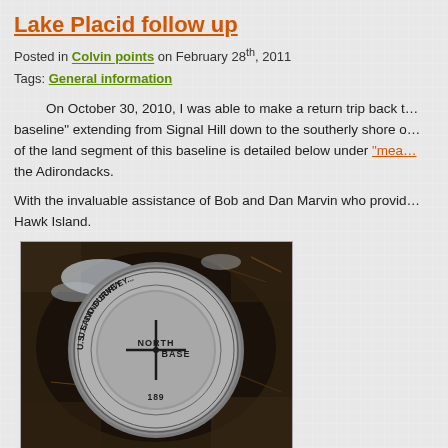Lake Placid follow up
Posted in Colvin points on February 28th, 2011
Tags: General information
On October 30, 2010, I was able to make a return trip back to the "baseline" extending from Signal Hill down to the southerly shore of the land segment of this baseline is detailed below under "mea... the Adirondacks.
With the invaluable assistance of Bob and Dan Marvin who provided... Hawk Island.
[Figure (photo): Close-up photograph of a metal survey benchmark disk embedded in soil/ground. The disk reads 'U.S. LAND SURVEY...' around the perimeter and 'NORTH BASE' in the center with a cross/plus symbol. The year '1895' is visible at the bottom. The disk appears weathered and is surrounded by dark soil.]